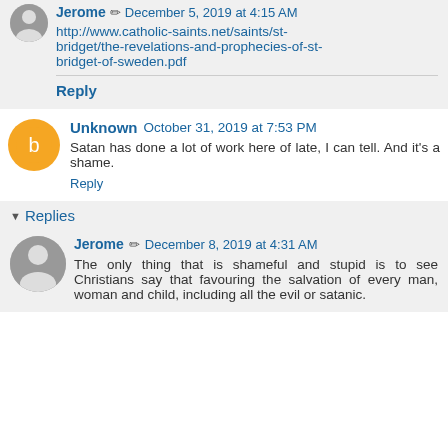Jerome  December 5, 2019 at 4:15 AM
http://www.catholic-saints.net/saints/st-bridget/the-revelations-and-prophecies-of-st-bridget-of-sweden.pdf
Reply
Unknown  October 31, 2019 at 7:53 PM
Satan has done a lot of work here of late, I can tell. And it's a shame.
Reply
Replies
Jerome  December 8, 2019 at 4:31 AM
The only thing that is shameful and stupid is to see Christians say that favouring the salvation of every man, woman and child, including all the evil or satanic.